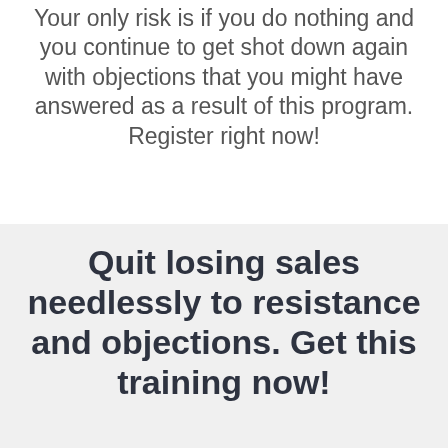Your only risk is if you do nothing and you continue to get shot down again with objections that you might have answered as a result of this program. Register right now!
Quit losing sales needlessly to resistance and objections. Get this training now!